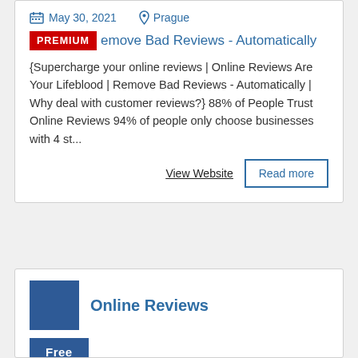May 30, 2021    Prague
PREMIUM  emove Bad Reviews - Automatically
{Supercharge your online reviews | Online Reviews Are Your Lifeblood | Remove Bad Reviews - Automatically | Why deal with customer reviews?} 88% of People Trust Online Reviews 94% of people only choose businesses with 4 st...
View Website    Read more
Online Reviews
Free